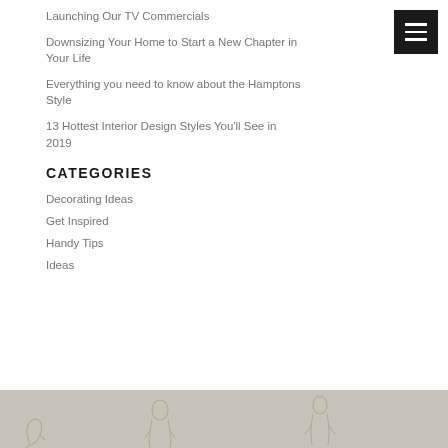Launching Our TV Commercials
Downsizing Your Home to Start a New Chapter in Your Life
Everything you need to know about the Hamptons Style
13 Hottest Interior Design Styles You'll See in 2019
CATEGORIES
Decorating Ideas
Get Inspired
Handy Tips
Ideas
[Figure (illustration): Decorative footer with line-art figures on a grey/taupe background]